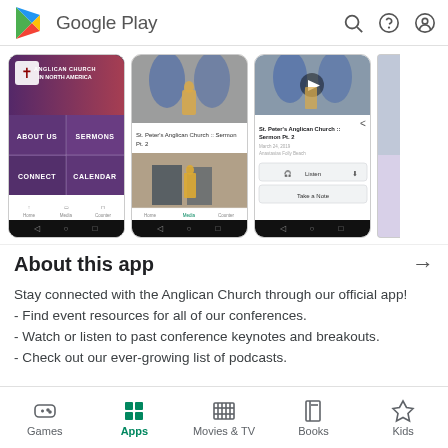[Figure (screenshot): Google Play Store header with logo, search icon, help icon, and account icon]
[Figure (screenshot): Three Android app screenshots showing Anglican Church in North America app with About Us, Sermons, Connect, Calendar menu; St. Peter's Anglican Church Sermon Pt. 2 media view; and sermon detail with Listen and Take a Note buttons]
About this app
Stay connected with the Anglican Church through our official app!
- Find event resources for all of our conferences.
- Watch or listen to past conference keynotes and breakouts.
- Check out our ever-growing list of podcasts.
Games  Apps  Movies & TV  Books  Kids